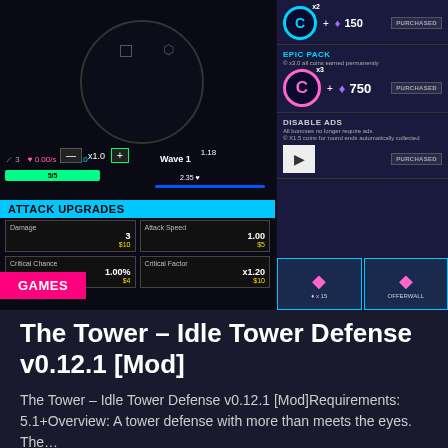[Figure (screenshot): Screenshot of The Tower - Idle Tower Defense mobile game showing gameplay with attack upgrades panel on left and in-app purchase shop on right with Epic Pack and Disable Ads options marked as PURCHASED]
GAMES
The Tower – Idle Tower Defense v0.12.1 [Mod]
The Tower – Idle Tower Defense v0.12.1 [Mod]Requirements: 5.1+Overview: A tower defense with more than meets the eyes. The…
TOLTH GREUSES